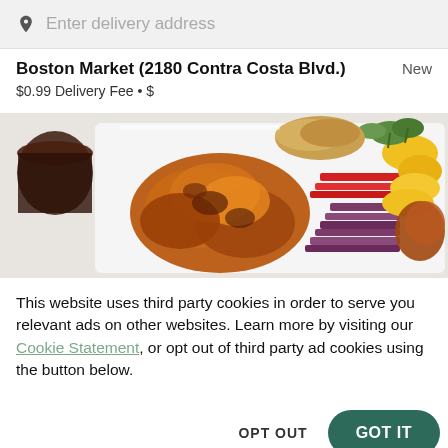Enter delivery address
Boston Market (2180 Contra Costa Blvd.)
$0.99 Delivery Fee • $
[Figure (photo): Food photo showing grilled chicken wings on white plate with colorful vegetable salad including purple cabbage, red peppers, and yellow slices, plus a drink on the left.]
This website uses third party cookies in order to serve you relevant ads on other websites. Learn more by visiting our Cookie Statement, or opt out of third party ad cookies using the button below.
OPT OUT
GOT IT